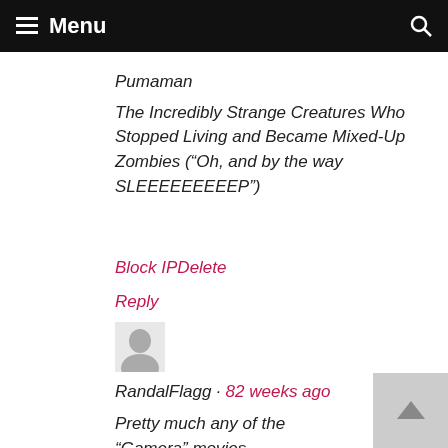Menu
Pumaman
The Incredibly Strange Creatures Who Stopped Living and Became Mixed-Up Zombies (“Oh, and by the way SLEEEEEEEEEP”)
Block IP Delete
Reply
[Figure (photo): User avatar silhouette icon]
RandalFlagg · 82 weeks ago
Pretty much any of the “Gamera” movies
Block IP Delete
Reply
In system · Go to profile